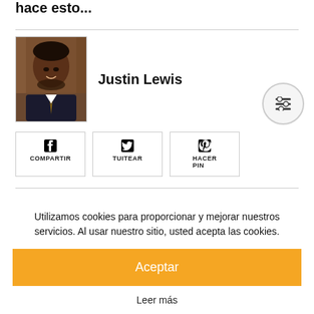hace esto...
[Figure (photo): Profile photo of Justin Lewis, a man in a suit]
Justin Lewis
COMPARTIR
TUITEAR
HACER PIN
Utilizamos cookies para proporcionar y mejorar nuestros servicios. Al usar nuestro sitio, usted acepta las cookies.
Aceptar
Leer más